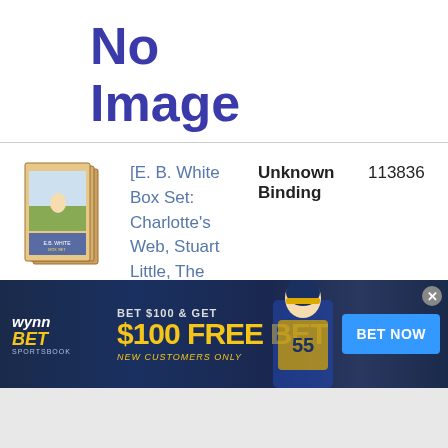No Image
[Figure (illustration): Book cover thumbnail for E.B. White Box Set showing stacked books]
[E. B. White Box Set: Charlotte's Web, Stuart Little, The Trumpet of the Swan] [By: White, E. B] [October, 2000]
Unknown Binding
113836
[Figure (illustration): Small Charlotte's Web book thumbnail]
[Charlotte's Web]
Hardcover
21
[Figure (illustration): WynnBET Sportsbook advertisement banner: BET $100 & GET $100 FREE BET, NEW CUSTOMERS ONLY, BET NOW button]